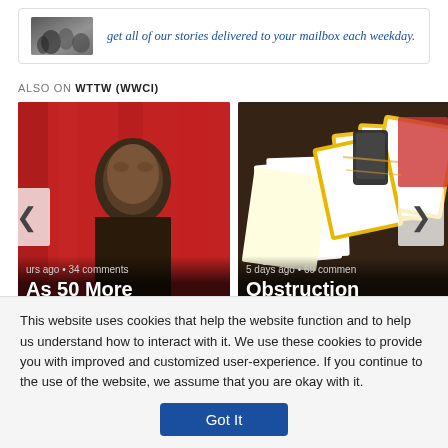get all of our stories delivered to your mailbox each weekday.
ALSO ON WTTW (WWCI)
[Figure (photo): Card 1: Photo of a man in front of red background. Overlay text: '...urs ago • 34 comments' and headline 'As 50 More Immigrants']
[Figure (photo): Card 2: Photo of papers/documents on a table. Overlay text: '5 days ago • 69 commen...' and headline 'Obstruction Emerges as Key']
This website uses cookies that help the website function and to help us understand how to interact with it. We use these cookies to provide you with improved and customized user-experience. If you continue to the use of the website, we assume that you are okay with it.
Got It